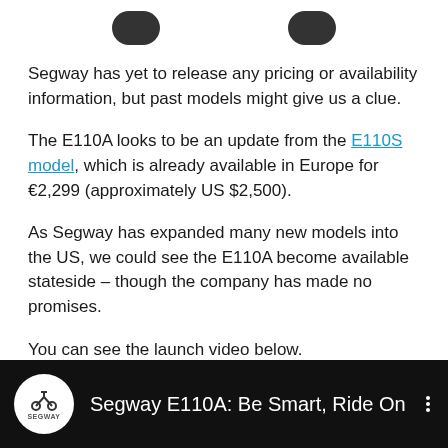[Figure (photo): Two dark rounded button/wheel elements visible at top of page, partially cropped]
Segway has yet to release any pricing or availability information, but past models might give us a clue.
The E110A looks to be an update from the E110S model, which is already available in Europe for €2,299 (approximately US $2,500).
As Segway has expanded many new models into the US, we could see the E110A become available stateside – though the company has made no promises.
You can see the launch video below.
[Figure (screenshot): Video thumbnail showing Segway E110A: Be Smart, Ride On with Segway logo circle on black background]